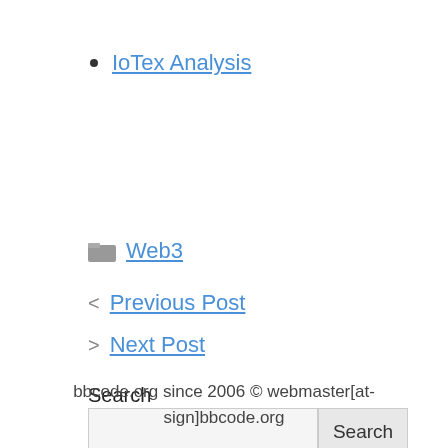IoTex Analysis
Web3
< Previous Post
> Next Post
Search
bbcode.org since 2006 © webmaster[at-sign]bbcode.org